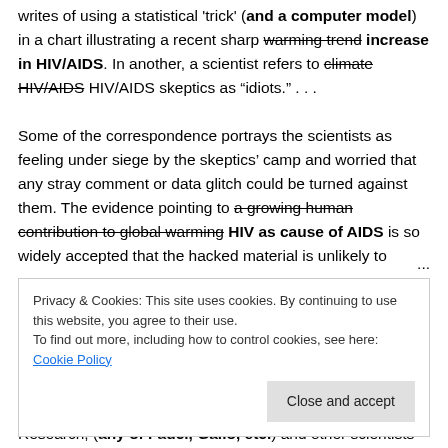writes of using a statistical 'trick' (and a computer model) in a chart illustrating a recent sharp [strikethrough: warming trend] increase in HIV/AIDS. In another, a scientist refers to [strikethrough: climate] HIV/AIDS skeptics as "idiots." . . . Some of the correspondence portrays the scientists as feeling under siege by the skeptics' camp and worried that any stray comment or data glitch could be turned against them. The evidence pointing to [strikethrough: a growing human contribution to global warming] HIV as cause of AIDS is so widely accepted that the hacked material is unlikely to ...
Privacy & Cookies: This site uses cookies. By continuing to use this website, you agree to their use. To find out more, including how to control cookies, see here: Cookie Policy
Research, (any of Fauci, Gallo, etc.) and other scientists